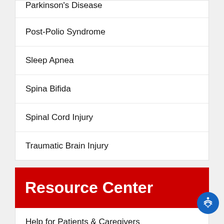Parkinson's Disease
Post-Polio Syndrome
Sleep Apnea
Spina Bifida
Spinal Cord Injury
Traumatic Brain Injury
Resource Center
Help for Patients & Caregivers
Medical Glossary